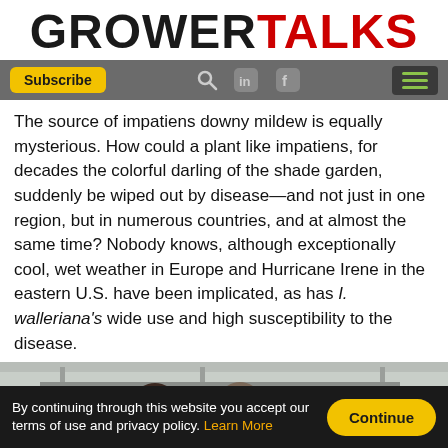GROWERTALKS
The source of impatiens downy mildew is equally mysterious. How could a plant like impatiens, for decades the colorful darling of the shade garden, suddenly be wiped out by disease—and not just in one region, but in numerous countries, and at almost the same time? Nobody knows, although exceptionally cool, wet weather in Europe and Hurricane Irene in the eastern U.S. have been implicated, as has I. walleriana's wide use and high susceptibility to the disease.
[Figure (photo): Three people in a greenhouse or agricultural facility, viewed from below, appearing to examine or discuss something.]
By continuing through this website you accept our terms of use and privacy policy. Learn More